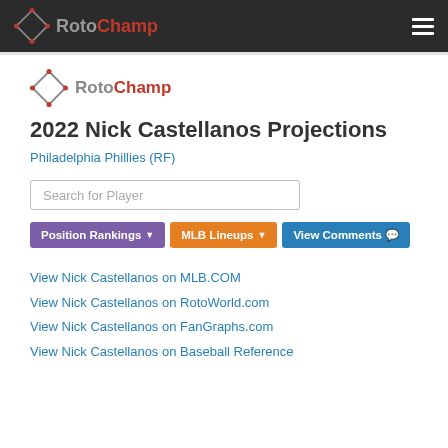RotoChamp
[Figure (logo): RotoChamp diamond logo with text inside main content]
2022 Nick Castellanos Projections
Philadelphia Phillies (RF)
Search for Player
Position Rankings ▾
MLB Lineups ▾
View Comments 💬
View Nick Castellanos on MLB.COM
View Nick Castellanos on RotoWorld.com
View Nick Castellanos on FanGraphs.com
View Nick Castellanos on Baseball Reference